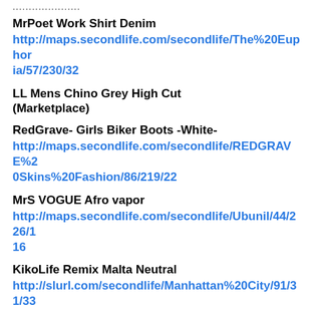....................
MrPoet Work Shirt Denim
http://maps.secondlife.com/secondlife/The%20Euphoria/57/230/32
LL Mens Chino Grey High Cut (Marketplace)
RedGrave- Girls Biker Boots -White-
http://maps.secondlife.com/secondlife/REDGRAVE%20Skins%20Fashion/86/219/22
MrS VOGUE Afro vapor
http://maps.secondlife.com/secondlife/Ubunil/44/226/116
KikoLife Remix Malta Neutral
http://slurl.com/secondlife/Manhattan%20City/91/31/33